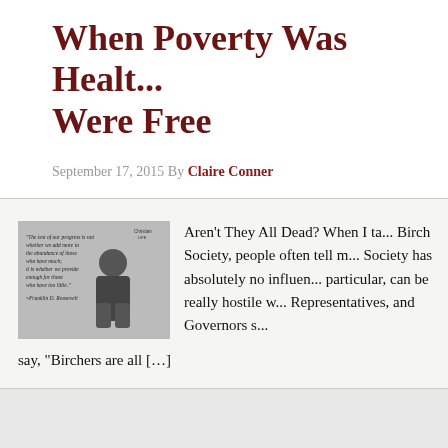When Poverty Was Healt... Were Free
September 17, 2015 By Claire Conner
[Figure (photo): Black and white photo of a young girl standing against a wall with a Franklin D. Roosevelt quote overlaid: 'The test of our progress is not whether we add more to the abundance of those who have much; it is whether we provide enough for those who have too little.' -Franklin D. Roosevelt]
Aren't They All Dead? When I ta... Birch Society, people often tell m... Society has absolutely no influen... particular, can be really hostile w... Representatives, and Governors s... say, "Birchers are all […]"